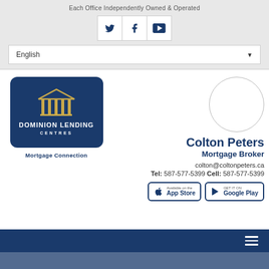Each Office Independently Owned & Operated
[Figure (logo): Social media icons: Twitter, Facebook, YouTube]
English (language selector dropdown)
[Figure (logo): Dominion Lending Centres logo with Mortgage Connection subtitle]
[Figure (photo): Circular profile photo placeholder (empty)]
Colton Peters
Mortgage Broker
colton@coltonpeters.ca
Tel: 587-577-5399 Cell: 587-577-5399
[Figure (screenshot): App Store and Google Play download buttons]